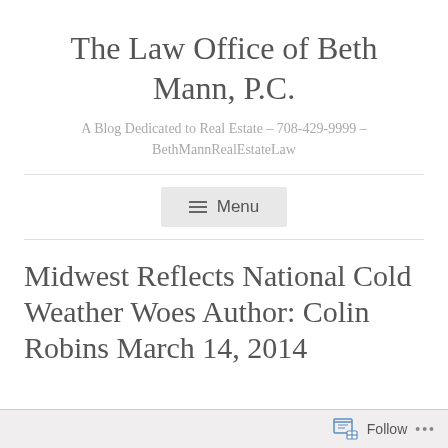The Law Office of Beth Mann, P.C.
A Blog Dedicated to Real Estate – 708-429-9999 – BethMannRealEstateLaw
[Figure (other): Menu navigation button with hamburger icon and 'Menu' text]
Midwest Reflects National Cold Weather Woes Author: Colin Robins March 14, 2014
Follow ...